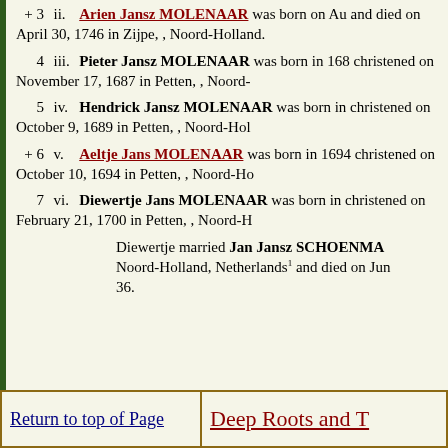+ 3  ii. Arien Jansz MOLENAAR was born on Aug... and died on April 30, 1746 in Zijpe, , Noord-Holland...
4  iii. Pieter Jansz MOLENAAR was born in 168... christened on November 17, 1687 in Petten, , Noord-...
5  iv. Hendrick Jansz MOLENAAR was born in... christened on October 9, 1689 in Petten, , Noord-Hol...
+ 6  v. Aeltje Jans MOLENAAR was born in 1694 christened on October 10, 1694 in Petten, , Noord-Ho...
7  vi. Diewertje Jans MOLENAAR was born in... christened on February 21, 1700 in Petten, , Noord-H...
Diewertje married Jan Jansz SCHOENMA... Noord-Holland, Netherlands and died on Jun... 36.
Return to top of Page | Deep Roots and T...